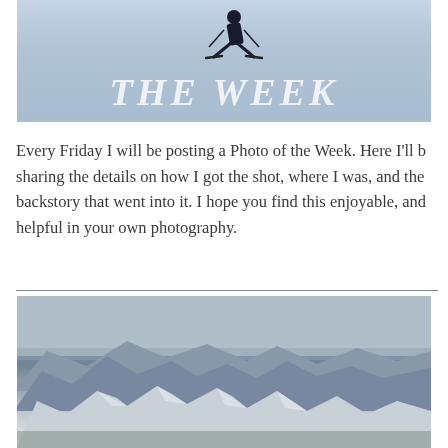[Figure (photo): Aerial/top-down photo of a skier on snow with large text 'THE WEEK' visible on the snow surface in white block letters]
Every Friday I will be posting a Photo of the Week. Here I'll be sharing the details on how I got the shot, where I was, and the backstory that went into it. I hope you find this enjoyable, and helpful in your own photography.
[Figure (photo): Panoramic landscape photo of snow-covered mountain peaks under an overcast grey sky]